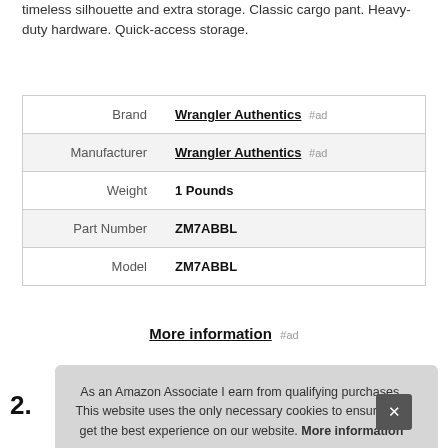timeless silhouette and extra storage. Classic cargo pant. Heavy-duty hardware. Quick-access storage.
|  |  |
| --- | --- |
| Brand | Wrangler Authentics #ad |
| Manufacturer | Wrangler Authentics #ad |
| Weight | 1 Pounds |
| Part Number | ZM7ABBL |
| Model | ZM7ABBL |
More information #ad
As an Amazon Associate I earn from qualifying purchases. This website uses the only necessary cookies to ensure you get the best experience on our website. More information
2.